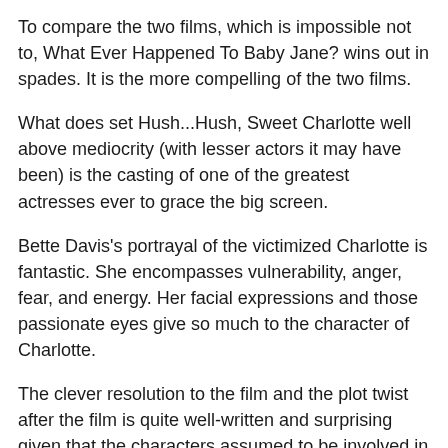To compare the two films, which is impossible not to, What Ever Happened To Baby Jane? wins out in spades. It is the more compelling of the two films.
What does set Hush...Hush, Sweet Charlotte well above mediocrity (with lesser actors it may have been) is the casting of one of the greatest actresses ever to grace the big screen.
Bette Davis's portrayal of the victimized Charlotte is fantastic. She encompasses vulnerability, anger, fear, and energy. Her facial expressions and those passionate eyes give so much to the character of Charlotte.
The clever resolution to the film and the plot twist after the film is quite well-written and surprising given that the characters assumed to be involved in the murder are not as guilty as one might think, or at least not in the way one might think, and by the time the credits roll, the story has a satisfying, hopeful ending.